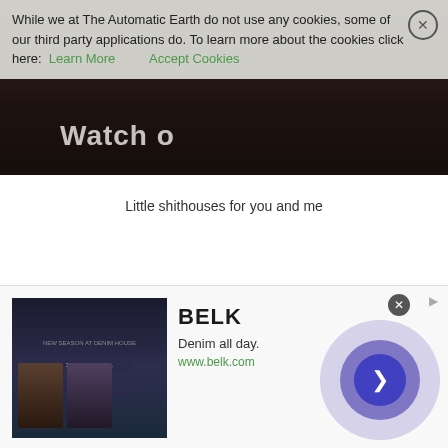[Figure (photo): Dark photo background with partial 'Watch o...' text visible in white bold letters, partially obscured by cookie consent banner]
While we at The Automatic Earth do not use any cookies, some of our third party applications do. To learn more about the cookies click here:  Learn More    Accept Cookies
Little shithouses for you and me
[Figure (photo): Advertisement banner for BELK: 'Denim all day. www.belk.com' with dark fashion imagery on left and purple circle graphic on right]